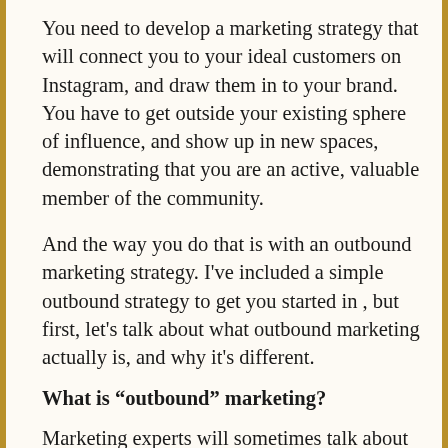You need to develop a marketing strategy that will connect you to your ideal customers on Instagram, and draw them in to your brand. You have to get outside your existing sphere of influence, and show up in new spaces, demonstrating that you are an active, valuable member of the community.
And the way you do that is with an outbound marketing strategy. I've included a simple outbound strategy to get you started in , but first, let's talk about what outbound marketing actually is, and why it's different.
What is “outbound” marketing?
Marketing experts will sometimes talk about “inbound” vs “outbound”